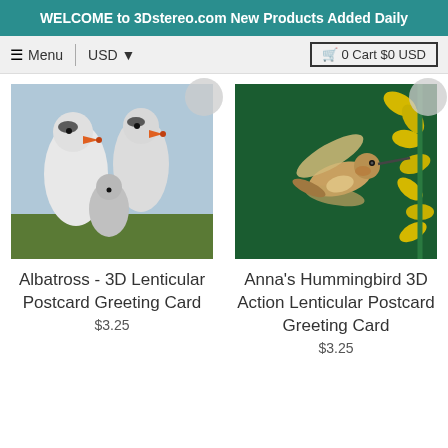WELCOME to 3Dstereo.com New Products Added Daily
≡ Menu  |  USD ▾  🛒 0 Cart $0 USD
[Figure (photo): Three white albatross birds (two adults and one chick) nestled in green grass. The adults have orange-tipped beaks.]
Albatross - 3D Lenticular Postcard Greeting Card
$3.25
[Figure (photo): A hummingbird in flight against a dark green background with yellow flowers.]
Anna's Hummingbird 3D Action Lenticular Postcard Greeting Card
$3.25